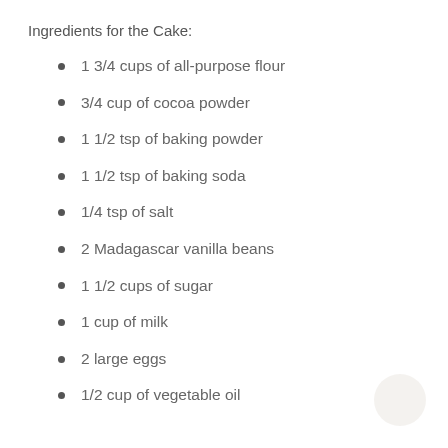Ingredients for the Cake:
1 3/4 cups of all-purpose flour
3/4 cup of cocoa powder
1 1/2 tsp of baking powder
1 1/2 tsp of baking soda
1/4 tsp of salt
2 Madagascar vanilla beans
1 1/2 cups of sugar
1 cup of milk
2 large eggs
1/2 cup of vegetable oil